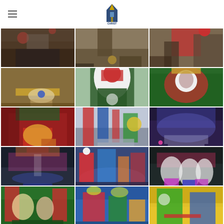Christ Church logo and navigation
[Figure (photo): Grid of Christmas event photos showing people in ugly sweaters, kids performing, church gatherings, and holiday decorations]
[Figure (photo): Christmas event photo - top row 1]
[Figure (photo): Christmas event photo - top row 2]
[Figure (photo): Christmas event photo - top row 3]
[Figure (photo): Food/dessert table close-up]
[Figure (photo): Child in elf/Santa costume ugly sweater]
[Figure (photo): Santa face ugly sweater close-up]
[Figure (photo): Fireplace ugly sweater]
[Figure (photo): People in Christmas costumes in hallway]
[Figure (photo): Large church audience in auditorium]
[Figure (photo): Stage with Christmas decorations and audience]
[Figure (photo): Children performing on stage in costumes]
[Figure (photo): Kids in snowman costumes on stage]
[Figure (photo): Christmas performance bottom row 1]
[Figure (photo): Christmas performance bottom row 2]
[Figure (photo): Christmas performance bottom row 3]